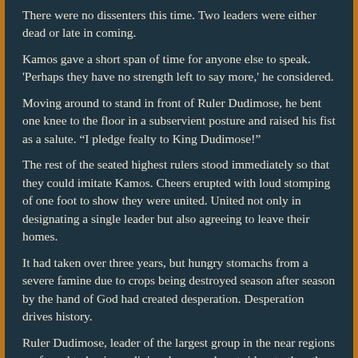There were no dissenters this time. Two leaders were either dead or late in coming.
Kamos gave a short span of time for anyone else to speak. 'Perhaps they have no strength left to say more,' he considered.
Moving around to stand in front of Ruler Dudimose, he bent one knee to the floor in a subservient posture and raised his fist as a salute. “I pledge fealty to King Dudimose!”
The rest of the seated highest rulers stood immediately so that they could imitate Kamos. Cheers erupted with loud stomping of one foot to show they were united. United not only in designating a single leader but also agreeing to leave their homes.
It had taken over three years, but hungry stomachs from a severe famine due to crops being destroyed season after season by the hand of God had created desperation. Desperation drives history.
Ruler Dudimose, leader of the largest group in the near regions professed to having a divine dream and sent riders to the other nearby houses both small and great. It took